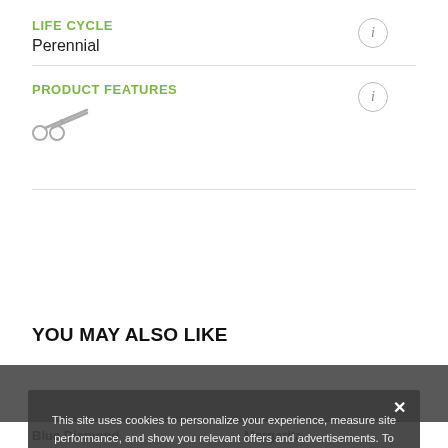LIFE CYCLE
Perennial
PRODUCT FEATURES
[Figure (illustration): Scissors icon representing a product feature]
YOU MAY ALSO LIKE
This site uses cookies to personalize your experience, measure site performance, and show you relevant offers and advertisements. To learn more about our use of cookies, as well as the categories of personal information we collect and your choices, please read our Privacy Policy. By clicking ALLOW or clicking on any other content, you agree that cookies can be placed.
ALLOW
Blue Diamond
Margarita